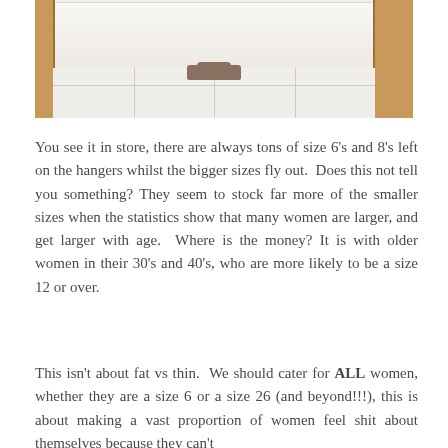[Figure (photo): A fitting room photo showing someone's feet and lower legs reflected in a mirror, with wooden door frames on sides and white tile floor.]
You see it in store, there are always tons of size 6's and 8's left on the hangers whilst the bigger sizes fly out.  Does this not tell you something? They seem to stock far more of the smaller sizes when the statistics show that many women are larger, and get larger with age.  Where is the money? It is with older women in their 30's and 40's, who are more likely to be a size 12 or over.
This isn't about fat vs thin.  We should cater for ALL women, whether they are a size 6 or a size 26 (and beyond!!!), this is about making a vast proportion of women feel shit about themselves because they can't